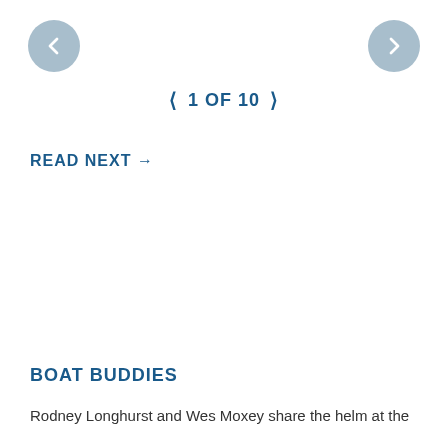[Figure (other): Left navigation arrow button (circle with left chevron)]
[Figure (other): Right navigation arrow button (circle with right chevron)]
< 1 OF 10 >
READ NEXT →
BOAT BUDDIES
Rodney Longhurst and Wes Moxey share the helm at the